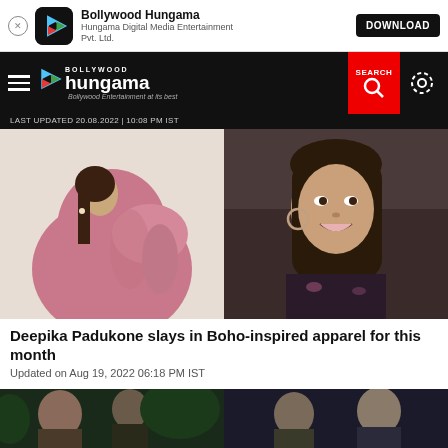[Figure (screenshot): App download banner with Bollywood Hungama app icon, name, publisher, and DOWNLOAD button]
[Figure (screenshot): Bollywood Hungama website navigation bar with hamburger menu, logo, search, and settings icons]
LAST UPDATED 20.08.2022 | 10:08 PM IST
[Figure (photo): Two side-by-side photos of Deepika Padukone - left in pink dress, right smiling in dark floral outfit]
Deepika Padukone slays in Boho-inspired apparel for this month
Updated on Aug 19, 2022 06:18 PM IST
[Figure (photo): Two side-by-side photos at bottom of page showing people at night event]